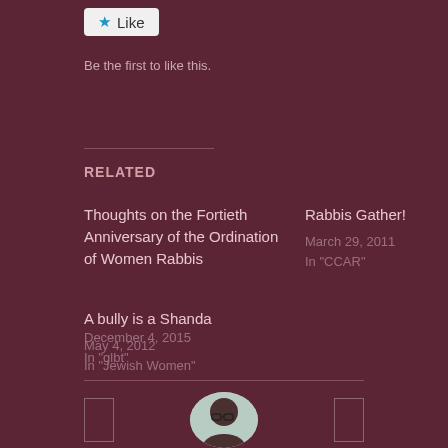[Figure (screenshot): Like button widget with star icon]
Be the first to like this.
RELATED
Thoughts on the Fortieth Anniversary of the Ordination of Women Rabbis
May 4, 2012
In "Jewish Women"
Rabbis Gather!
March 29, 2011
In "CCAR"
A bully is a Shanda
December 4, 2015
In "glbt"
[Figure (photo): Small circular avatar photo of a woman with dark hair and glasses, partially visible at bottom of page]